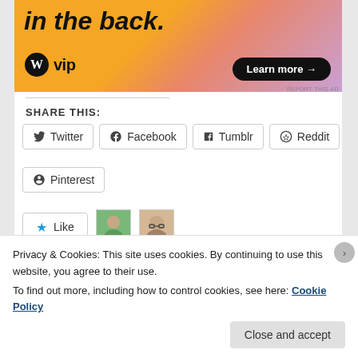[Figure (screenshot): WordPress VIP advertisement banner with orange/pink gradient background, large italic text 'in the back.', WordPress VIP logo, and 'Learn more' button]
SHARE THIS:
Twitter  Facebook  Tumblr  Reddit  Pinterest (social share buttons)
Like  [2 blogger avatars]
2 bloggers like this.
Privacy & Cookies: This site uses cookies. By continuing to use this website, you agree to their use.
To find out more, including how to control cookies, see here: Cookie Policy  [Close and accept button]